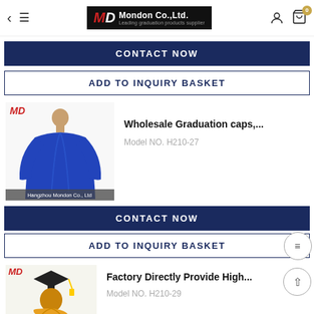Mondon Co.,Ltd. - Leading graduation products supplier
CONTACT NOW
ADD TO INQUIRY BASKET
[Figure (photo): Blue graduation gown on mannequin with MD logo, watermark: Hangzhou Mondon Co., Ltd]
Wholesale Graduation caps,...
Model NO. H210-27
CONTACT NOW
ADD TO INQUIRY BASKET
[Figure (photo): Person wearing graduation cap and gown with MD logo]
Factory Directly Provide High...
Model NO. H210-29